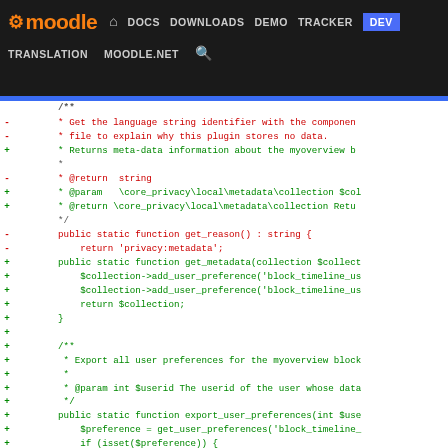moodle | DOCS DOWNLOADS DEMO TRACKER DEV | TRANSLATION MOODLE.NET
[Figure (screenshot): Moodle developer documentation website navigation bar with black background showing Moodle logo, navigation links (DOCS, DOWNLOADS, DEMO, TRACKER, DEV highlighted in blue), and secondary nav (TRANSLATION, MOODLE.NET, search icon)]
Code diff showing PHP privacy provider class changes. Red lines (removed): Get the language string identifier with the component, file to explain why this plugin stores no data, @return string, public static function get_reason() : string {, return 'privacy:metadata';. Green lines (added): Returns meta-data information about the myoverview block, @param \core_privacy\local\metadata\collection $col, @return \core_privacy\local\metadata\collection Retu, public static function get_metadata(collection $collect, $collection->add_user_preference('block_timeline_us, $collection->add_user_preference('block_timeline_us, return $collection;, }, Export all user preferences for the myoverview block, @param int $userid The userid of the user whose data, public static function export_user_preferences(int $use, $preference = get_user_preferences('block_timeline_, if (isset($preference)) {, \core_privacy\local\request\writer::export_user_